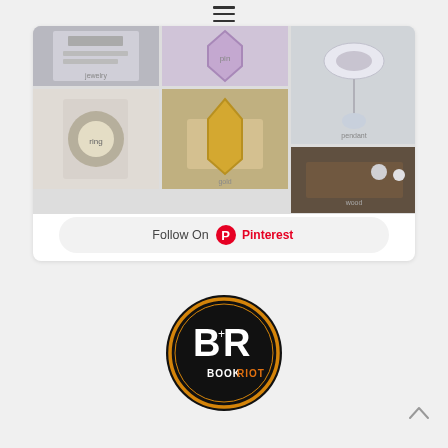[Figure (screenshot): Hamburger menu icon (three horizontal lines) at the top center of the page]
[Figure (screenshot): Pinterest widget showing a grid of jewelry/ring photos with a Follow On Pinterest button at the bottom]
[Figure (logo): Book Riot logo — circular black badge with orange ring and white BR letters above BOOKRIOT text]
[Figure (other): Back to top arrow chevron icon at the bottom right]